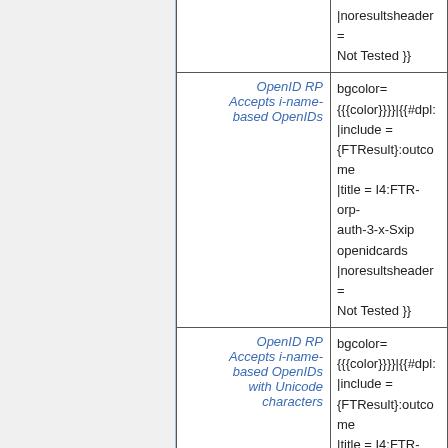| Feature | Value/Template |
| --- | --- |
|  | |noresultsheader = Not Tested }} |
| OpenID RP Accepts i-name-based OpenIDs | bgcolor={{{color}}}}|{{#dpl: |include = {FTResult}:outcome|title = I4:FTR-orp-auth-3-x-Sxip openidcards |noresultsheader = Not Tested }} |
| OpenID RP Accepts i-name-based OpenIDs with Unicode characters | bgcolor={{{color}}}}|{{#dpl: |include = {FTResult}:outcome|title = I4:FTR-orp-auth-4-x-Sxip openidcards |noresultsheader = Not Tested }} |